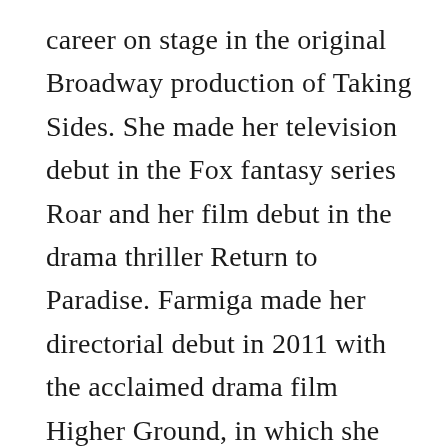career on stage in the original Broadway production of Taking Sides. She made her television debut in the Fox fantasy series Roar and her film debut in the drama thriller Return to Paradise. Farmiga made her directorial debut in 2011 with the acclaimed drama film Higher Ground, in which she had a leading role.